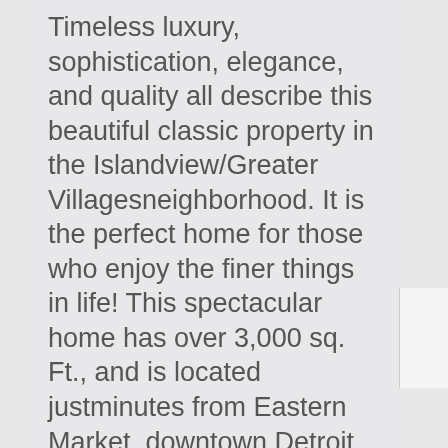Timeless luxury, sophistication, elegance, and quality all describe this beautiful classic property in the Islandview/Greater Villagesneighborhood. It is the perfect home for those who enjoy the finer things in life! This spectacular home has over 3,000 sq. Ft., and is located justminutes from Eastern Market, downtown Detroit, and Belle Isle. The fully renovated, turn-of-the-century architectural gem features 4bedrooms, 3 full baths, and 1 half bath, modern kitchen, cozy fireplace, tile work accents, energy efficient upgrades, along with beautifullandscaping!If you are seeking a distinctive luxury home schedule your personal showing